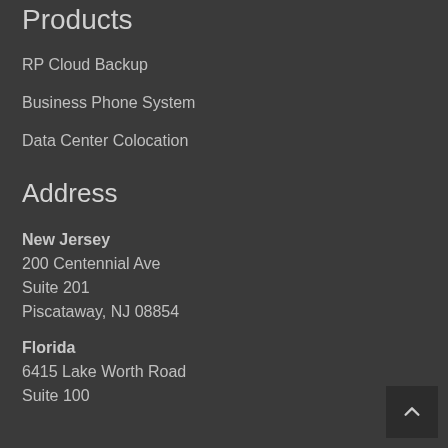Products
RP Cloud Backup
Business Phone System
Data Center Colocation
Address
New Jersey
200 Centennial Ave
Suite 201
Piscataway, NJ 08854
Florida
6415 Lake Worth Road
Suite 100